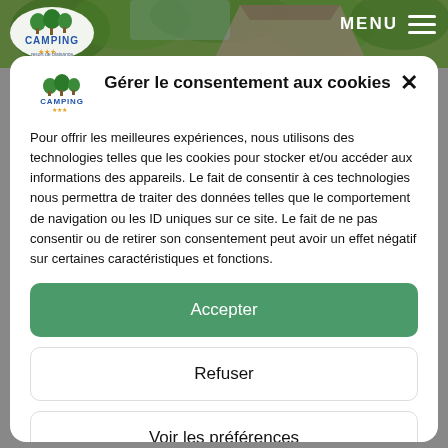[Figure (screenshot): Camping website header background with trees and roof, CAMPING logo top-left, MENU button top-right]
Gérer le consentement aux cookies
Pour offrir les meilleures expériences, nous utilisons des technologies telles que les cookies pour stocker et/ou accéder aux informations des appareils. Le fait de consentir à ces technologies nous permettra de traiter des données telles que le comportement de navigation ou les ID uniques sur ce site. Le fait de ne pas consentir ou de retirer son consentement peut avoir un effet négatif sur certaines caractéristiques et fonctions.
Accepter
Refuser
Voir les préférences
Cookies policy  Confidentiality policy